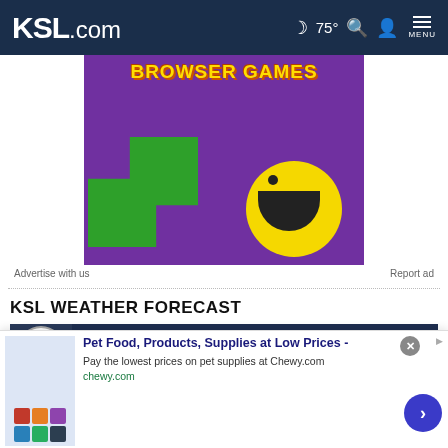KSL.com  🌙 75° 🔍 👤 MENU
[Figure (screenshot): Browser Games advertisement with purple background, green shape, and yellow pac-man ball character]
Advertise with us    Report ad
KSL WEATHER FORECAST
[Figure (screenshot): KSL Weather Specialists - Current Weather Pattern video thumbnail with dark blue background]
Cookie Notice
We use cookies to improve your experience, analyze site traffic, and to personalize content and ads. By continuing to use our site, you consent to our use of cookies. Please visit our Terms of Use and  Privacy Policy for more information
[Figure (screenshot): Bottom banner ad: Pet Food, Products, Supplies at Low Prices - Pay the lowest prices on pet supplies at Chewy.com - chewy.com]